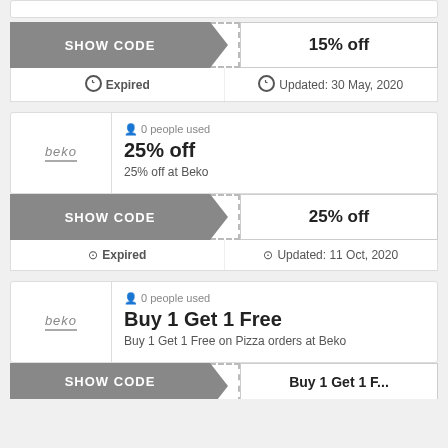[Figure (screenshot): Partial coupon card top (cut off) showing white box]
SHOW CODE | 15% off | Expired | Updated: 30 May, 2020
0 people used
25% off
25% off at Beko
SHOW CODE | 25% off | Expired | Updated: 11 Oct, 2020
0 people used
Buy 1 Get 1 Free
Buy 1 Get 1 Free on Pizza orders at Beko
SHOW CODE | Buy 1 Get 1 Free (partial)